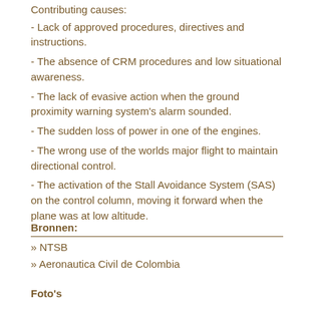Contributing causes:
- Lack of approved procedures, directives and instructions.
- The absence of CRM procedures and low situational awareness.
- The lack of evasive action when the ground proximity warning system's alarm sounded.
- The sudden loss of power in one of the engines.
- The wrong use of the worlds major flight to maintain directional control.
- The activation of the Stall Avoidance System (SAS) on the control column, moving it forward when the plane was at low altitude.
Bronnen:
» NTSB
» Aeronautica Civil de Colombia
Foto's